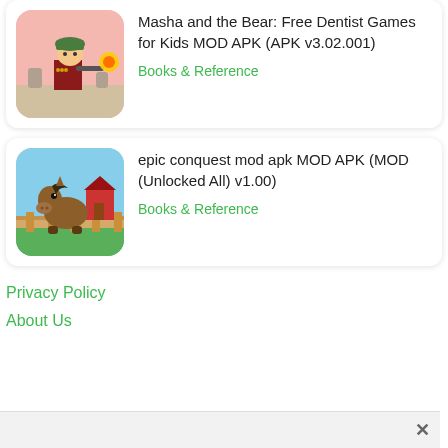[Figure (illustration): App icon for a soldier/military themed game with a cartoon character holding a gun with an explosion effect, on a pink/light background]
Masha and the Bear: Free Dentist Games for Kids MOD APK (APK v3.02.001)
Books & Reference
[Figure (illustration): App icon showing a cartoon horse peeking over a wooden fence with a farm barn in the background on a green field]
epic conquest mod apk MOD APK (MOD (Unlocked All) v1.00)
Books & Reference
Privacy Policy
About Us